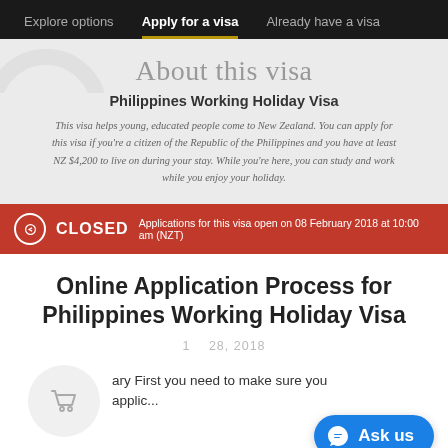Explore options | Apply for a visa | Already have a visa
About this visa
Philippines Working Holiday Visa
This visa helps young, educated people come to New Zealand. You can apply for this visa if you're a citizen of the Republic of the Philippines and you have at least NZ $4,200 to live on during your stay. While you're here, you can study and work while you enjoy your holiday.
CLOSED   Applications for this visa open on 08 February 2018 at 10:00 am (NZT)
Online Application Process for Philippines Working Holiday Visa
1  28, 2018
ary First you need to make sure you applic...
Read more »